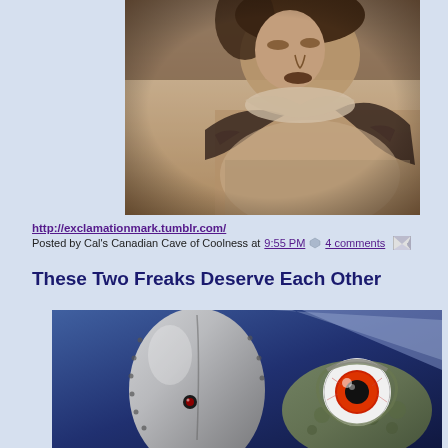[Figure (photo): Vintage sepia-toned photograph of a person lying down, hands visible near throat/neck area, old-fashioned clothing with ruffled collar.]
http://exclamationmark.tumblr.com/
Posted by Cal's Canadian Cave of Coolness at 9:55 PM 4 comments
These Two Freaks Deserve Each Other
[Figure (photo): Two alien/monster figurines or props against a dark blue background — left figure is egg/helmet-shaped metallic silver with rivets and a small eye; right figure is a creature with a large bulging eyeball and textured skin.]